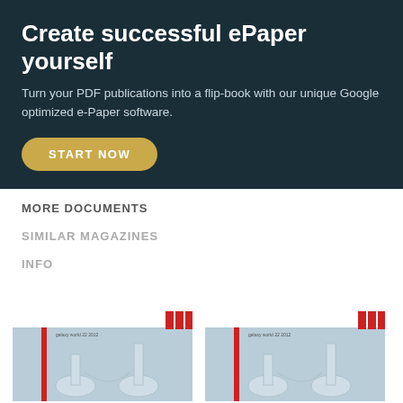Create successful ePaper yourself
Turn your PDF publications into a flip-book with our unique Google optimized e-Paper software.
START NOW
MORE DOCUMENTS
SIMILAR MAGAZINES
INFO
[Figure (illustration): Thumbnail of a magazine cover with red accent bar and blue-gray background showing laboratory glassware]
[Figure (illustration): Thumbnail of a magazine cover with red accent bar and blue-gray background showing laboratory glassware]